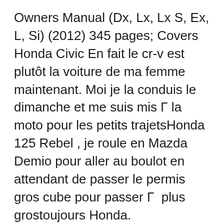Owners Manual (Dx, Lx, Lx S, Ex, L, Si) (2012) 345 pages; Covers Honda Civic En fait le cr-v est plutôt la voiture de ma femme maintenant. Moi je la conduis le dimanche et me suis mis à la moto pour les petits trajetsHonda 125 Rebel , je roule en Mazda Demio pour aller au boulot en attendant de passer le permis gros cube pour passer à plus grostoujours Honda.
Official Owners Manual for 2012 Honda CR-V from the Honda Owners Site. Workshop and owners manuals for the Honda Civic. To read online or download as a PDF. Home Video Course Honda Civic. Factory Service Manual (1991) 1259 pages; English; Covers Honda...